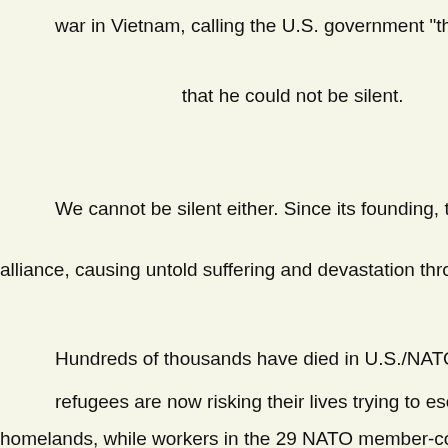war in Vietnam, calling the U.S. government "the greatest purveyor of viol…
that he could not be silent.
We cannot be silent either. Since its founding, the U.S.-led NATO has bee…
alliance, causing untold suffering and devastation throughout Northern Afri…
Hundreds of thousands have died in U.S./NATO wars in Iraq, Libya, Som…
refugees are now risking their lives trying to escape the carnage that the…
homelands, while workers in the 29 NATO member-countries are told they…
programs in order to meet U.S. demands for even more m…